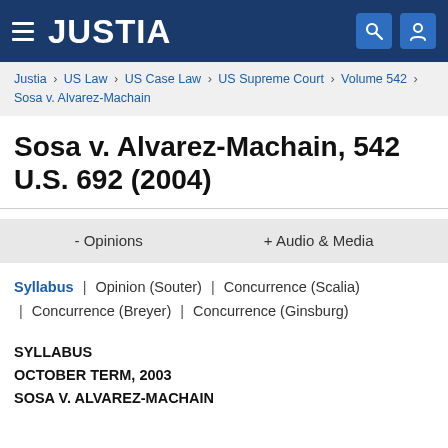JUSTIA
Justia › US Law › US Case Law › US Supreme Court › Volume 542 › Sosa v. Alvarez-Machain
Sosa v. Alvarez-Machain, 542 U.S. 692 (2004)
- Opinions   + Audio & Media
Syllabus | Opinion (Souter) | Concurrence (Scalia) | Concurrence (Breyer) | Concurrence (Ginsburg)
SYLLABUS
OCTOBER TERM, 2003
SOSA V. ALVAREZ-MACHAIN